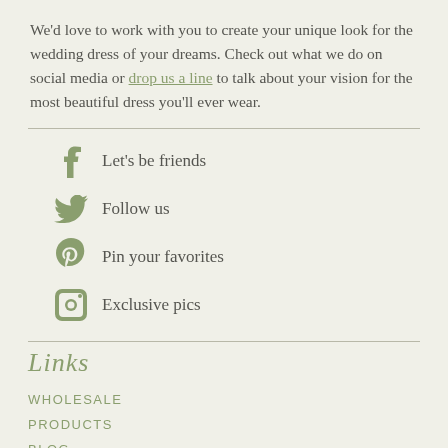We'd love to work with you to create your unique look for the wedding dress of your dreams. Check out what we do on social media or drop us a line to talk about your vision for the most beautiful dress you'll ever wear.
Let's be friends
Follow us
Pin your favorites
Exclusive pics
Links
WHOLESALE
PRODUCTS
BLOG